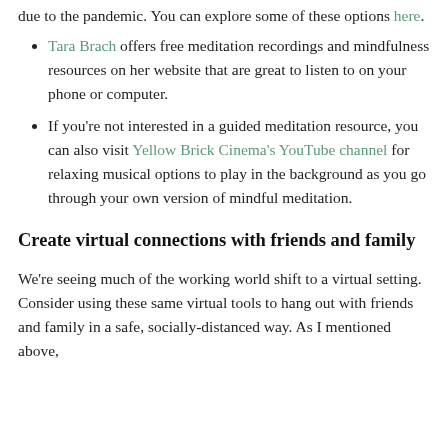due to the pandemic. You can explore some of these options here.
Tara Brach offers free meditation recordings and mindfulness resources on her website that are great to listen to on your phone or computer.
If you're not interested in a guided meditation resource, you can also visit Yellow Brick Cinema's YouTube channel for relaxing musical options to play in the background as you go through your own version of mindful meditation.
Create virtual connections with friends and family
We're seeing much of the working world shift to a virtual setting. Consider using these same virtual tools to hang out with friends and family in a safe, socially-distanced way. As I mentioned above,